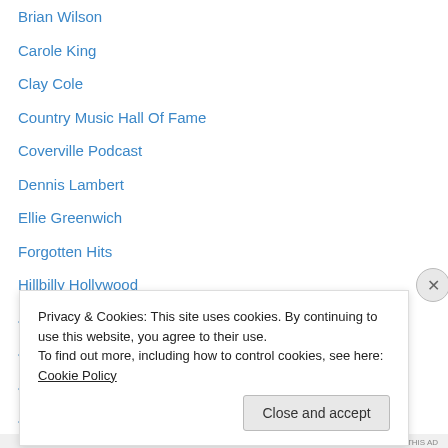Brian Wilson
Carole King
Clay Cole
Country Music Hall Of Fame
Coverville Podcast
Dennis Lambert
Ellie Greenwich
Forgotten Hits
Hillbilly Hollywood
Jay And The Americans
Jerry Ross
Jersey Girls Sing
Joel Diamond
John Madera
Privacy & Cookies: This site uses cookies. By continuing to use this website, you agree to their use. To find out more, including how to control cookies, see here: Cookie Policy
Close and accept